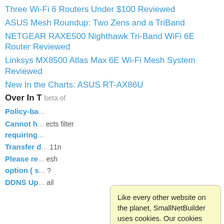Three Wi-Fi 6 Routers Under $100 Reviewed
ASUS Mesh Roundup: Two Zens and a TriBand
NETGEAR RAXE500 Nighthawk Tri-Band WiFi 6E Router Reviewed
Linksys MX8500 Atlas Max 6E Wi-Fi Mesh System Reviewed
New In the Charts: ASUS RT-AX86U
Over In T... beta of
Policy-ba...
Cannot h... ects filter requiring...
Transfer d... 11n
Please re... esh option ( s... ?
DDNS Up... ail
[Figure (other): Cookie consent popup overlay with light yellow background. Text reads: 'Like every other website on the planet, SmallNetBuilder uses cookies. Our cookies track login status, but we only allow admins to log in anyway, so those don't apply to you. Any other cookies you pick up during your visit come from advertisers, which we don't control. If you continue to use the site, you agree to tolerate our use of cookies. Thank you!']